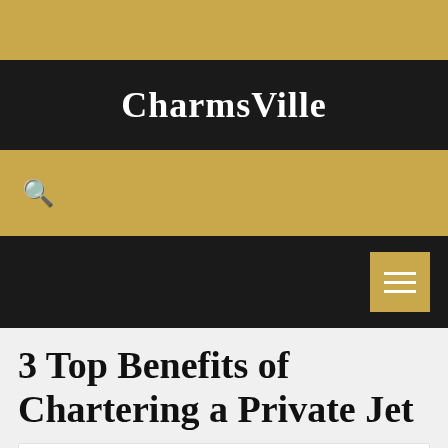CharmsVille
3 Top Benefits of Chartering a Private Jet
Charm Fashion  0  Comment  1:20 pm